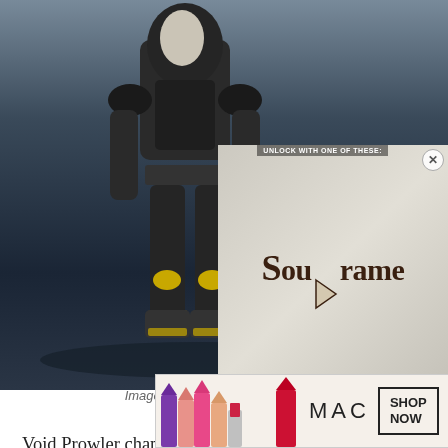[Figure (screenshot): Game screenshot showing Wraith character with dark armor and yellow accents from Apex Legends, overlaid with a Soulframe game logo panel on the right side showing a dark medieval-style logo with a play button]
Image via Respawn Entertainment
Void Prowler changes almost every aspect of Wraith, giving her diamonds for eyes, a white robe, and best of all, cat ears. It first arrived during Season 6's Aftermarket Collection Event and was available for purchase almost two years later in Janua
[Figure (photo): MAC Cosmetics advertisement banner showing colorful lipsticks and SHOP NOW button]